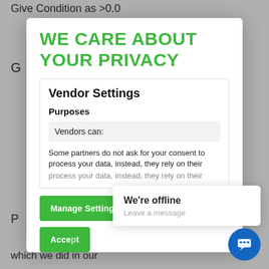Give Condition as >0.0
WE CARE ABOUT YOUR PRIVACY
Vendor Settings
Purposes
Vendors can:
Some partners do not ask for your consent to process your data, instead, they rely on their
Manage Settings
Vendors
Accept
which we did in our
We're offline
Leave a message